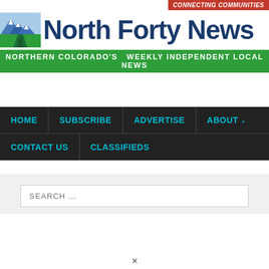CONNECTING COMMUNITIES
North Forty News
NORTHERN COLORADO'S  WEEKLY INDEPENDENT LOCAL NEWS
HOME
SUBSCRIBE
ADVERTISE
ABOUT
CONTACT US
CLASSIFIEDS
SEARCH ...